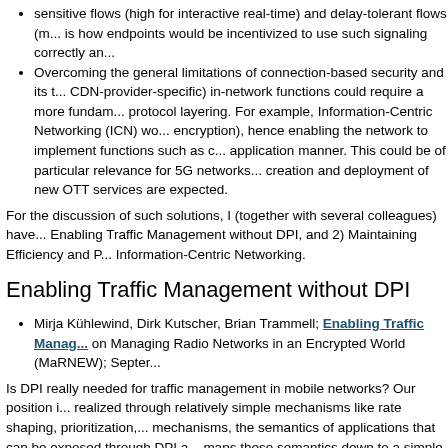sensitive flows (high for interactive real-time) and delay-tolerant flows (... is how endpoints would be incentivized to use such signaling correctly an...
Overcoming the general limitations of connection-based security and its t... CDN-provider-specific) in-network functions could require a more fundam... protocol layering. For example, Information-Centric Networking (ICN) wo... encryption), hence enabling the network to implement functions such as ... application manner. This could be of particular relevance for 5G networks... creation and deployment of new OTT services are expected.
For the discussion of such solutions, I (together with several colleagues) have... Enabling Traffic Management without DPI, and 2) Maintaining Efficiency and P... Information-Centric Networking.
Enabling Traffic Management without DPI
Mirja Kühlewind, Dirk Kutscher, Brian Trammell; Enabling Traffic Manag... on Managing Radio Networks in an Encrypted World (MaRNEW); Septer...
Is DPI really needed for traffic management in mobile networks? Our position i... realized through relatively simple mechanisms like rate shaping, prioritization,... mechanisms, the semantics of applications that can be exposed through DPI a... maps these semantics down to a simple set of categories.
The question then arises whether operators are really helped by brittle, insec... higher fidelity information for the coarse traffic information for traffic managem... suffice for traffic classification for mobile network management purposes.